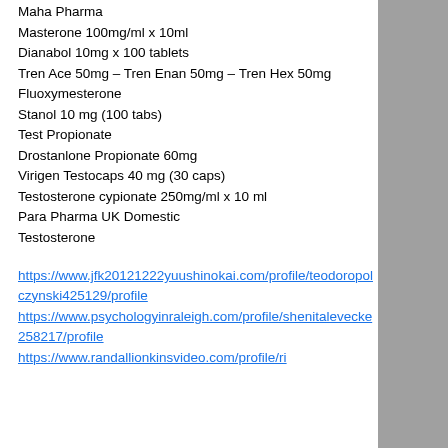Maha Pharma
Masterone 100mg/ml x 10ml
Dianabol 10mg x 100 tablets
Tren Ace 50mg – Tren Enan 50mg – Tren Hex 50mg
Fluoxymesterone
Stanol 10 mg (100 tabs)
Test Propionate
Drostanlone Propionate 60mg
Virigen Testocaps 40 mg (30 caps)
Testosterone cypionate 250mg/ml x 10 ml
Para Pharma UK Domestic
Testosterone
https://www.jfk20121222yuushinokai.com/profile/teodoropolczynski425129/profile
https://www.psychologyinraleigh.com/profile/shenitalevecke258217/profile
https://www.randallionkinsvideo.com/profile/ri